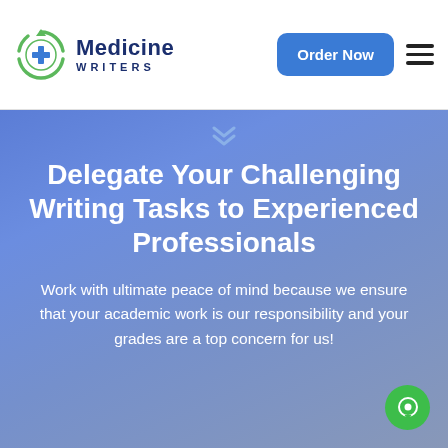[Figure (logo): Medicine Writers logo with green plus icon and circular arrow, dark blue text]
Order Now
Delegate Your Challenging Writing Tasks to Experienced Professionals
Work with ultimate peace of mind because we ensure that your academic work is our responsibility and your grades are a top concern for us!